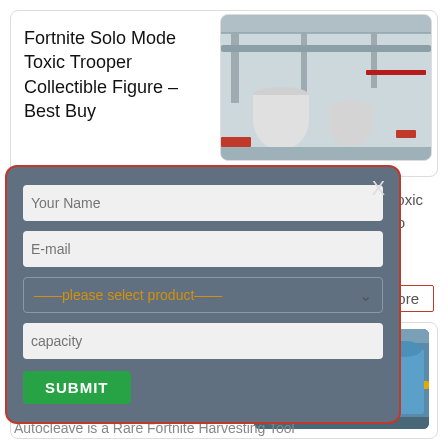Fortnite Solo Mode Toxic Trooper Collectible Figure – Best Buy
[Figure (photo): Industrial facility interior with overhead equipment and tanks]
ng tool and detailed ite Toxic Trooper action r play or to display in a
More
[Figure (screenshot): Modal form with fields: Your Name, E-mail, please select product dropdown, capacity, and SUBMIT button]
Pickaxe – Pro Game Guides
[Figure (photo): Industrial facility with blue machinery and yellow pipes]
Autocleave is a Rare Fortnite Harvesting Tool